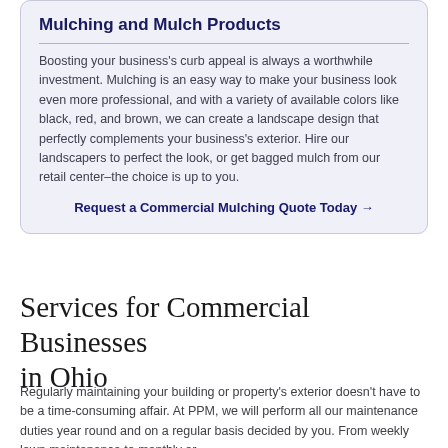Mulching and Mulch Products
Boosting your business's curb appeal is always a worthwhile investment. Mulching is an easy way to make your business look even more professional, and with a variety of available colors like black, red, and brown, we can create a landscape design that perfectly complements your business's exterior. Hire our landscapers to perfect the look, or get bagged mulch from our retail center–the choice is up to you.
Request a Commercial Mulching Quote Today →
Services for Commercial Businesses in Ohio
Regularly maintaining your building or property's exterior doesn't have to be a time-consuming affair. At PPM, we will perform all our maintenance duties year round and on a regular basis decided by you. From weekly lawn maintenance to monthly or